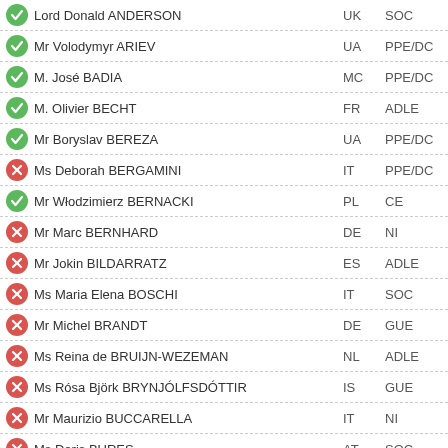Lord Donald ANDERSON | UK | SOC | present
Mr Volodymyr ARIEV | UA | PPE/DC | present
M. José BADIA | MC | PPE/DC | present
M. Olivier BECHT | FR | ADLE | present
Mr Boryslav BEREZA | UA | PPE/DC | present
Ms Deborah BERGAMINI | IT | PPE/DC | absent
Mr Włodzimierz BERNACKI | PL | CE | present
Mr Marc BERNHARD | DE | NI | absent
Mr Jokin BILDARRATZ | ES | ADLE | absent
Ms Maria Elena BOSCHI | IT | SOC | absent
Mr Michel BRANDT | DE | GUE | absent
Ms Reina de BRUIJN-WEZEMAN | NL | ADLE | absent
Ms Rósa Björk BRYNJÓLFSDÓTTIR | IS | GUE | absent
Mr Maurizio BUCCARELLA | IT | NI | absent
Ms Doris BURES | AT | SOC | absent
Mr José CEPEDA | ES | SOC | absent
Mr Ahmet Ünal ÇEVİKÖZ | TR | SOC | absent